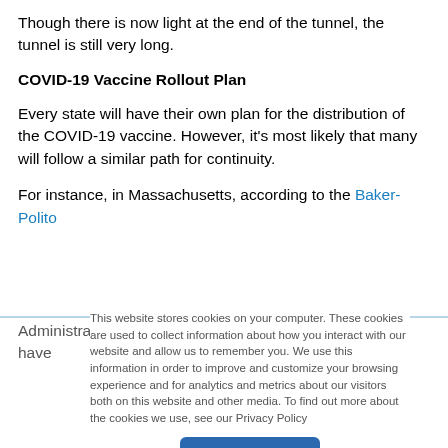Though there is now light at the end of the tunnel, the tunnel is still very long.
COVID-19 Vaccine Rollout Plan
Every state will have their own plan for the distribution of the COVID-19 vaccine. However, it's most likely that many will follow a similar path for continuity.
For instance, in Massachusetts, according to the Baker-Polito Administration and the Department of Public Health, they have
This website stores cookies on your computer. These cookies are used to collect information about how you interact with our website and allow us to remember you. We use this information in order to improve and customize your browsing experience and for analytics and metrics about our visitors both on this website and other media. To find out more about the cookies we use, see our Privacy Policy
Accept